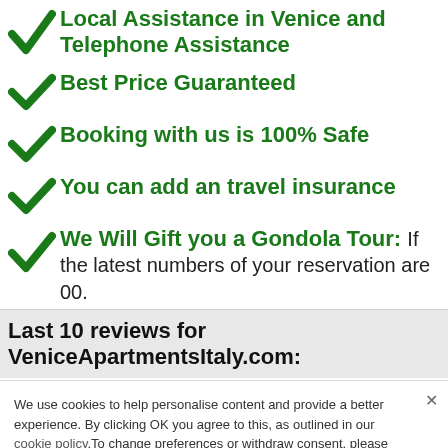Local Assistance in Venice and Telephone Assistance
Best Price Guaranteed
Booking with us is 100% Safe
You can add an travel insurance
We Will Gift you a Gondola Tour: If the latest numbers of your reservation are 00.
Last 10 reviews for VeniceApartmentsItaly.com:
We use cookies to help personalise content and provide a better experience. By clicking OK you agree to this, as outlined in our cookie policy.To change preferences or withdraw consent, please
OK
Cookie Preferences